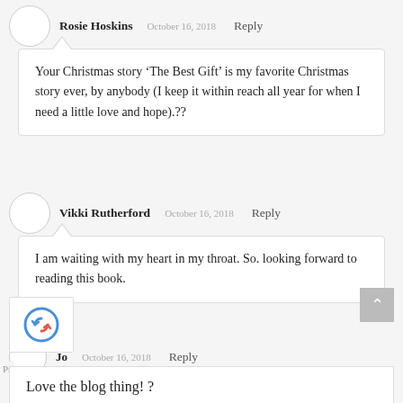Rosie Hoskins   October 16, 2018   Reply
Your Christmas story ‘The Best Gift’ is my favorite Christmas story ever, by anybody (I keep it within reach all year for when I need a little love and hope).??
Vikki Rutherford   October 16, 2018   Reply
I am waiting with my heart in my throat. So. looking forward to reading this book.
Jo   October 16, 2018   Reply
Love the blog thing! ?